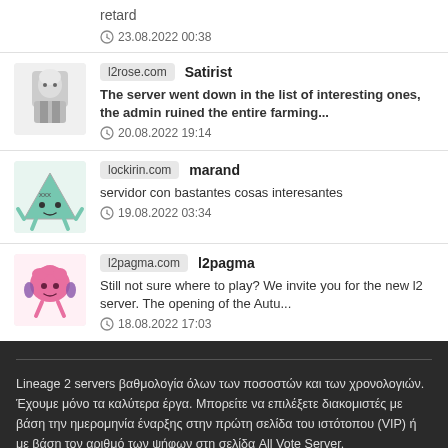retard
23.08.2022 00:38
l2rose.com | Satirist
The server went down in the list of interesting ones, the admin ruined the entire farming...
20.08.2022 19:14
lockirin.com | marand
servidor con bastantes cosas interesantes
19.08.2022 03:34
l2pagma.com | l2pagma
Still not sure where to play? We invite you for the new l2 server. The opening of the Autu...
18.08.2022 17:03
Lineage 2 servers βαθμολογία όλων των ποσοστών και των χρονολογιών. Έχουμε μόνο τα καλύτερα έργα. Μπορείτε να επιλέξετε διακομιστές με βάση την ημερομηνία έναρξης στην πρώτη σελίδα του ιστότοπου (VIP) ή με βάση τον αριθμό των ψήφων στη σελίδα All Vote Server.